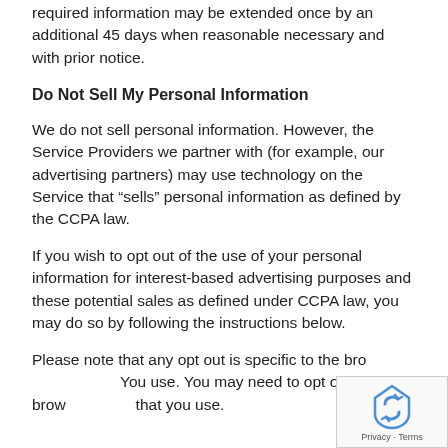required information may be extended once by an additional 45 days when reasonable necessary and with prior notice.
Do Not Sell My Personal Information
We do not sell personal information. However, the Service Providers we partner with (for example, our advertising partners) may use technology on the Service that “sells” personal information as defined by the CCPA law.
If you wish to opt out of the use of your personal information for interest-based advertising purposes and these potential sales as defined under CCPA law, you may do so by following the instructions below.
Please note that any opt out is specific to the browser You use. You may need to opt out on every browser that you use.